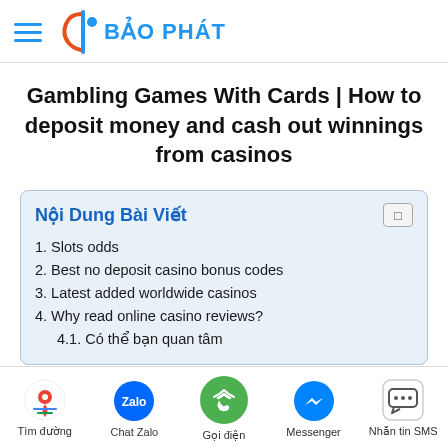[Figure (logo): Bảo Phát logo with hamburger menu icon on the left, orange/blue BP logo mark and blue text 'BẢO PHÁT' on the right]
Gambling Games With Cards | How to deposit money and cash out winnings from casinos
Nội Dung Bài Viết
1. Slots odds
2. Best no deposit casino bonus codes
3. Latest added worldwide casinos
4. Why read online casino reviews?
4.1. Có thể bạn quan tâm
[Figure (screenshot): Bottom navigation bar with icons: Tìm đường (Google Maps), Chat Zalo, Gọi điện (phone), Messenger, Nhắn tin SMS]